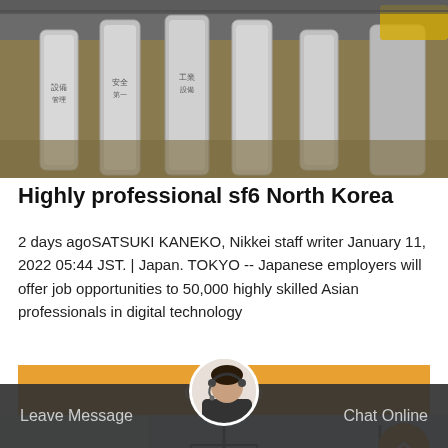[Figure (photo): Industrial photo showing white cylindrical gas cylinders on a warehouse floor with Japanese text on them]
Highly professional sf6 North Korea
2 days agoSATSUKI KANEKO, Nikkei staff writer January 11, 2022 05:44 JST. | Japan. TOKYO -- Japanese employers will offer job opportunities to 50,000 highly skilled Asian professionals in digital technology
Get Price
[Figure (photo): Industrial scene with electrical transmission towers against a light sky]
Leave Message
Chat Online